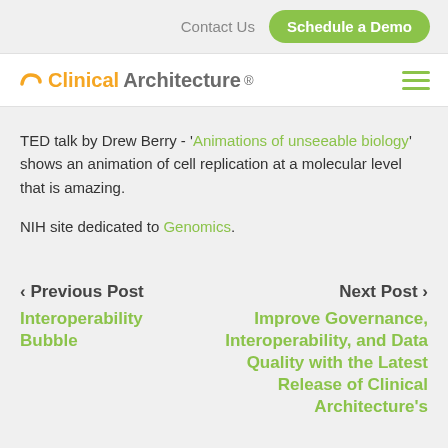Contact Us  Schedule a Demo
[Figure (logo): Clinical Architecture logo with orange arc and text]
TED talk by Drew Berry - 'Animations of unseeable biology' shows an animation of cell replication at a molecular level that is amazing.
NIH site dedicated to Genomics.
< Previous Post  Interoperability Bubble
Next Post >  Improve Governance, Interoperability, and Data Quality with the Latest Release of Clinical Architecture's